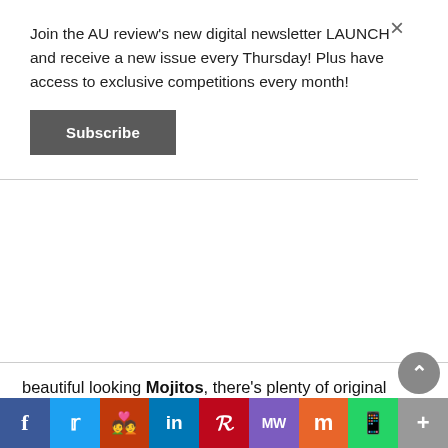Join the AU review's new digital newsletter LAUNCH and receive a new issue every Thursday! Plus have access to exclusive competitions every month!
Subscribe
beautiful looking Mojitos, there's plenty of original tequila and mezcal based concoctions. We sampled their Oaxaca Old Fashioned, a combination of tequila, mezcal, agave nectar and bitters and it was a great take on the classic cocktail. They've got some fruity numbers such as the Paloma – tequila muddled together with pink grapefruit and fresh limes as well as something a bit more hard-hitting like the fantastically named Big Cojones with mezcal, tequila, St Germain elderflower, fresh lime, Martini Rosso & bitters.
Calaveras
[Figure (infographic): Social sharing bar with icons: Facebook (blue), Twitter (light blue), Reddit (orange-red), LinkedIn (blue), Pinterest (red), MW (purple), Mix (orange), WhatsApp (green), More/Plus (grey)]